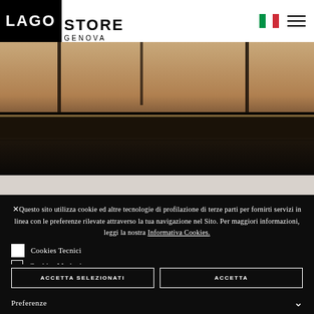LAGO STORE GENOVA
[Figure (photo): Interior photo of LAGO store Genova showing furniture/shelving with warm ambient lighting, dark tones]
×Questo sito utilizza cookie ed altre tecnologie di profilazione di terze parti per fornirti servizi in linea con le preferenze rilevate attraverso la tua navigazione nel Sito. Per maggiori informazioni, leggi la nostra Informativa Cookies.
Cookies Tecnici
Cookies Marketing
Cookies Profilazione
ACCETTA SELEZIONATI
ACCETTA
Preferenze